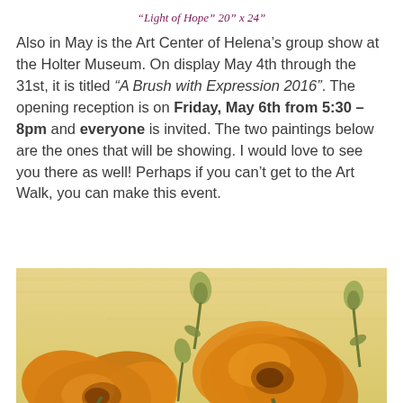“Light of Hope” 20” x 24”
Also in May is the Art Center of Helena’s group show at the Holter Museum. On display May 4th through the 31st, it is titled “A Brush with Expression 2016”. The opening reception is on Friday, May 6th from 5:30 – 8pm and everyone is invited. The two paintings below are the ones that will be showing. I would love to see you there as well! Perhaps if you can’t get to the Art Walk, you can make this event.
[Figure (photo): A painting of orange/gold poppy flowers with green stems and buds on a warm yellow-beige background, cropped view showing the lower portion of the painting.]